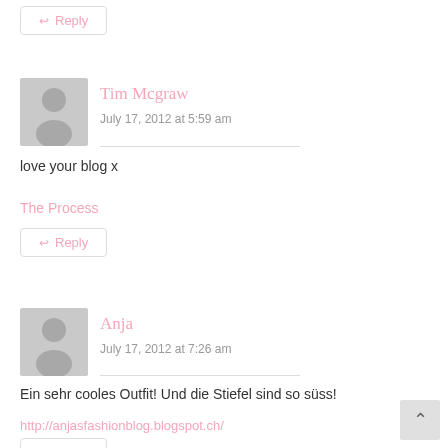[Figure (other): Reply button at top of page]
[Figure (other): User avatar silhouette for Tim Mcgraw]
Tim Mcgraw
July 17, 2012 at 5:59 am
love your blog x
The Process
[Figure (other): Reply button for Tim Mcgraw comment]
[Figure (other): User avatar silhouette for Anja]
Anja
July 17, 2012 at 7:26 am
Ein sehr cooles Outfit! Und die Stiefel sind so süss!
http://anjasfashionblog.blogspot.ch/
[Figure (other): Reply button for Anja comment (partially visible)]
[Figure (other): Scroll to top button]